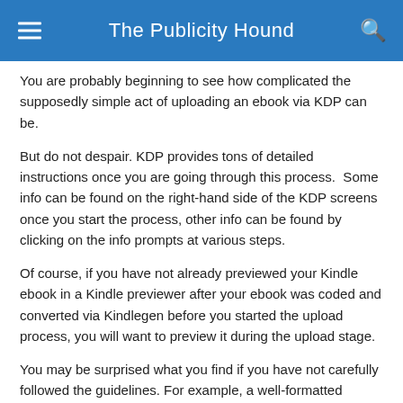The Publicity Hound
You are probably beginning to see how complicated the supposedly simple act of uploading an ebook via KDP can be.
But do not despair. KDP provides tons of detailed instructions once you are going through this process. Some info can be found on the right-hand side of the KDP screens once you start the process, other info can be found by clicking on the info prompts at various steps.
Of course, if you have not already previewed your Kindle ebook in a Kindle previewer after your ebook was coded and converted via Kindlegen before you started the upload process, you will want to preview it during the upload stage.
You may be surprised what you find if you have not carefully followed the guidelines. For example, a well-formatted Kindle ebook has a new chapter starting on a new screen. The ebook does not have a new chapter starting immediately after the previous chapter on the same screen.